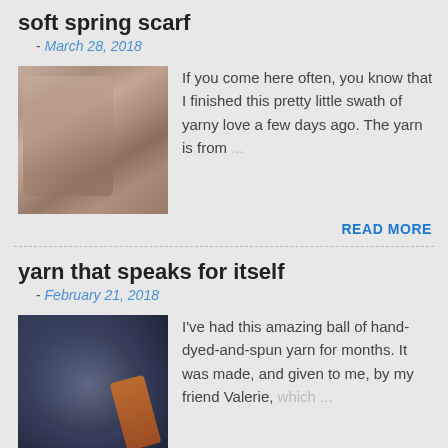soft spring scarf
- March 28, 2018
If you come here often, you know that I finished this pretty little swath of yarny love a few days ago. The yarn is from ...
READ MORE
yarn that speaks for itself
- February 21, 2018
I've had this amazing ball of hand-dyed-and-spun yarn for months. It was made, and given to me, by my friend Valerie, which ...
READ MORE